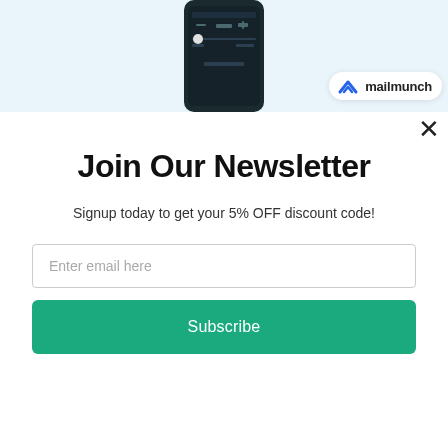[Figure (screenshot): Smartphone screen showing a dark-themed app interface with slider controls and 'Reset to Default' text. A mailmunch logo badge appears in the bottom-right corner of the image area.]
Join Our Newsletter
Signup today to get your 5% OFF discount code!
Enter email here
Subscribe